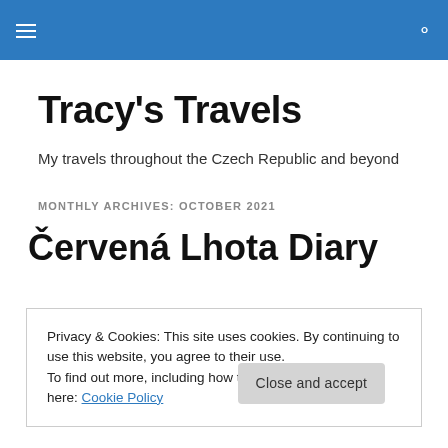Tracy's Travels — site header bar with hamburger menu and search icon
Tracy's Travels
My travels throughout the Czech Republic and beyond
MONTHLY ARCHIVES: OCTOBER 2021
Červená Lhota Diary
Privacy & Cookies: This site uses cookies. By continuing to use this website, you agree to their use.
To find out more, including how to control cookies, see here: Cookie Policy
Close and accept